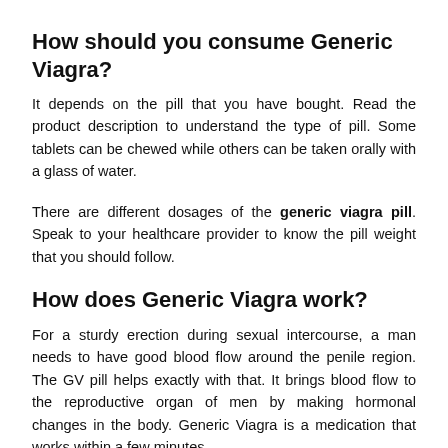How should you consume Generic Viagra?
It depends on the pill that you have bought. Read the product description to understand the type of pill. Some tablets can be chewed while others can be taken orally with a glass of water.
There are different dosages of the generic viagra pill. Speak to your healthcare provider to know the pill weight that you should follow.
How does Generic Viagra work?
For a sturdy erection during sexual intercourse, a man needs to have good blood flow around the penile region. The GV pill helps exactly with that. It brings blood flow to the reproductive organ of men by making hormonal changes in the body. Generic Viagra is a medication that works within a few minutes.
You can consume the pill 20-25 minutes before having sexual